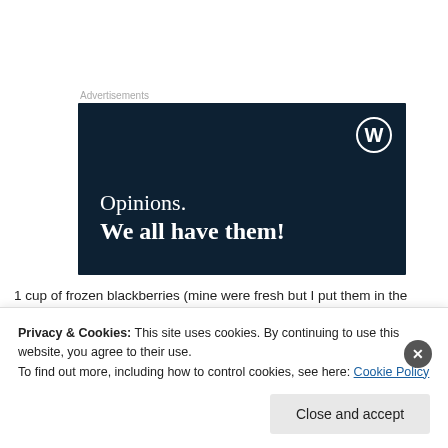Advertisements
[Figure (illustration): WordPress advertisement banner with dark navy background. Shows WordPress logo (W in circle) in top right. Text reads 'Opinions. We all have them!' in white serif font.]
1 cup of frozen blackberries (mine were fresh but I put them in the
Privacy & Cookies: This site uses cookies. By continuing to use this website, you agree to their use.
To find out more, including how to control cookies, see here: Cookie Policy
Close and accept